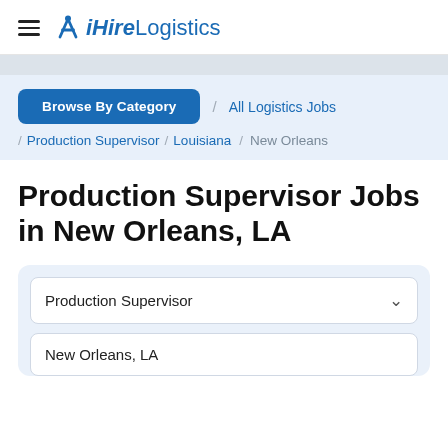iHireLogistics
Browse By Category / All Logistics Jobs / Production Supervisor / Louisiana / New Orleans
Production Supervisor Jobs in New Orleans, LA
Production Supervisor
New Orleans, LA